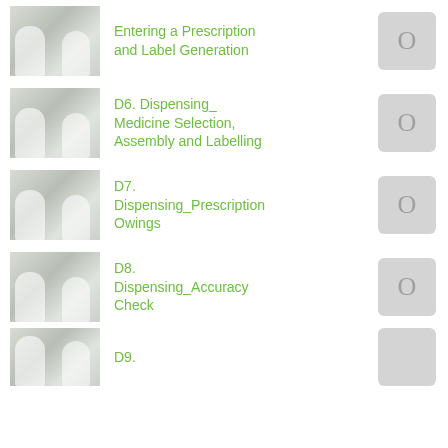Entering a Prescription and Label Generation
D6. Dispensing_ Medicine Selection, Assembly and Labelling
D7. Dispensing_Prescription Owings
D8. Dispensing_Accuracy Check
D9.